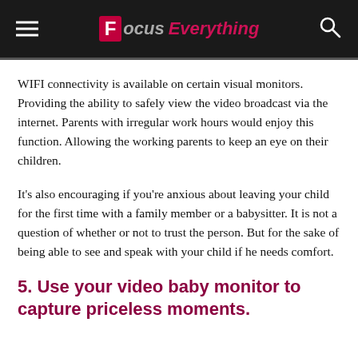Focus Everything
WIFI connectivity is available on certain visual monitors. Providing the ability to safely view the video broadcast via the internet. Parents with irregular work hours would enjoy this function. Allowing the working parents to keep an eye on their children.
It's also encouraging if you're anxious about leaving your child for the first time with a family member or a babysitter. It is not a question of whether or not to trust the person. But for the sake of being able to see and speak with your child if he needs comfort.
5. Use your video baby monitor to capture priceless moments.